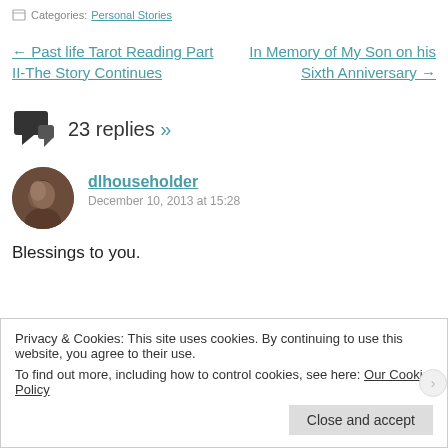Categories: Personal Stories
← Past life Tarot Reading Part II-The Story Continues    In Memory of My Son on his Sixth Anniversary →
23 replies »
dlhouseholder
December 10, 2013 at 15:28
Blessings to you.
Privacy & Cookies: This site uses cookies. By continuing to use this website, you agree to their use.
To find out more, including how to control cookies, see here: Our Cookie Policy
Close and accept